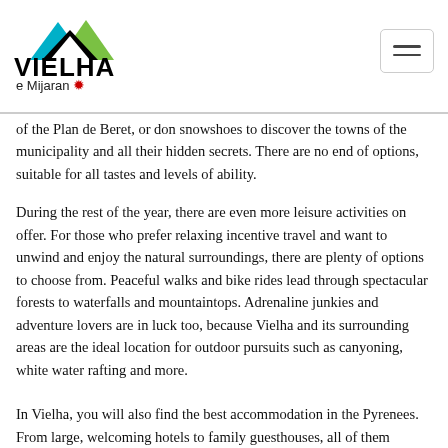[Figure (logo): Vielha e Mijaran logo with mountain silhouette in teal and green above bold text VIELHA and tagline e Mijaran with a red snowflake icon]
of the Plan de Beret, or don snowshoes to discover the towns of the municipality and all their hidden secrets. There are no end of options, suitable for all tastes and levels of ability.
During the rest of the year, there are even more leisure activities on offer. For those who prefer relaxing incentive travel and want to unwind and enjoy the natural surroundings, there are plenty of options to choose from. Peaceful walks and bike rides lead through spectacular forests to waterfalls and mountaintops. Adrenaline junkies and adventure lovers are in luck too, because Vielha and its surrounding areas are the ideal location for outdoor pursuits such as canyoning, white water rafting and more.
In Vielha, you will also find the best accommodation in the Pyrenees. From large, welcoming hotels to family guesthouses, all of them offering all the amenities and facilities needed to make a business trip an unforgettable memory.